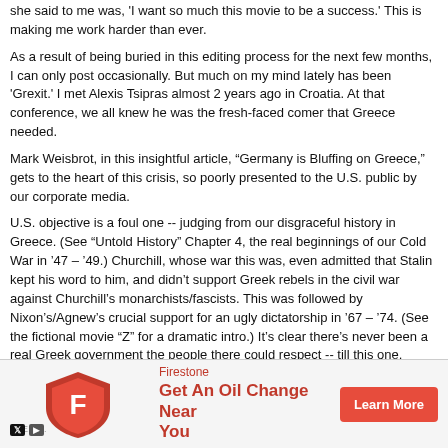she said to me was, 'I want so much this movie to be a success.' This is making me work harder than ever.
As a result of being buried in this editing process for the next few months, I can only post occasionally. But much on my mind lately has been 'Grexit.' I met Alexis Tsipras almost 2 years ago in Croatia. At that conference, we all knew he was the fresh-faced comer that Greece needed.
Mark Weisbrot, in this insightful article, “Germany is Bluffing on Greece,” gets to the heart of this crisis, so poorly presented to the U.S. public by our corporate media.
U.S. objective is a foul one -- judging from our disgraceful history in Greece. (See “Untold History” Chapter 4, the real beginnings of our Cold War in ‘47 – ‘49.) Churchill, whose war this was, even admitted that Stalin kept his word to him, and didn’t support Greek rebels in the civil war against Churchill’s monarchists/fascists. This was followed by Nixon’s/Agnew’s crucial support for an ugly dictatorship in ‘67 – ‘74. (See the fictional movie “Z” for a dramatic intro.) It’s clear there’s never been a real Greek government the people there could respect -- till this one.
I say ‘viva Tsipras!’ ‘Viva a new Greece!’
-- and don’t believe what you read in the American media. I only wish Europe could separate itself from our empire-wide goals.
Mark Weisbrot, “Germany is Bluffing on Greece,” http://bit.ly/1BgzjNq